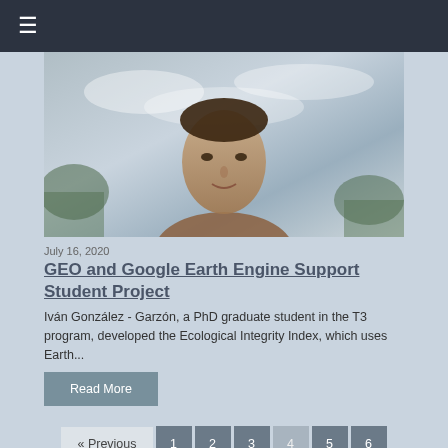≡
[Figure (photo): Portrait photo of a young man against a sky background with trees]
July 16, 2020
GEO and Google Earth Engine Support Student Project
Iván González - Garzón, a PhD graduate student in the T3 program, developed the Ecological Integrity Index, which uses Earth...
Read More
« Previous  1  2  3  4  5  6